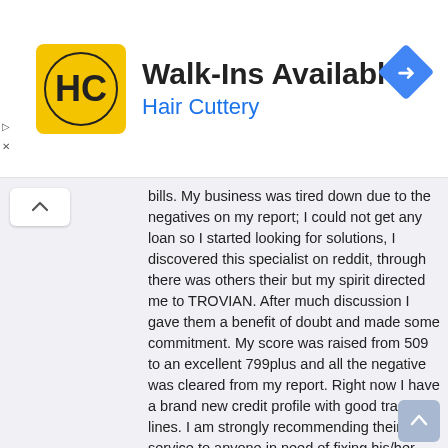[Figure (logo): Hair Cuttery advertisement banner with HC logo, text 'Walk-Ins Available' and 'Hair Cuttery', and a blue direction sign icon]
bills. My business was tired down due to the negatives on my report; I could not get any loan so I started looking for solutions, I discovered this specialist on reddit, through there was others their but my spirit directed me to TROVIAN. After much discussion I gave them a benefit of doubt and made some commitment. My score was raised from 509 to an excellent 799plus and all the negative was cleared from my report. Right now I have a brand new credit profile with good trade lines. I am strongly recommending their service to anyone in need of fixing his/her credit you can contact them via ; TROVIANCREDITREPAIR@GMAIL.COM /+ 1 (424) 307 4562
Reply   Delete
Unknown
4 April 2022 at 01:11